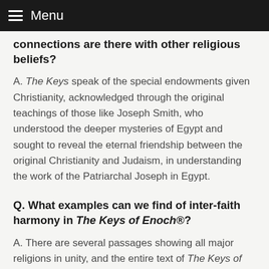Menu
connections are there with other religious beliefs?
A. The Keys speak of the special endowments given Christianity, acknowledged through the original teachings of those like Joseph Smith, who understood the deeper mysteries of Egypt and sought to reveal the eternal friendship between the original Christianity and Judaism, in understanding the work of the Patriarchal Joseph in Egypt.
Q. What examples can we find of inter-faith harmony in The Keys of Enoch®?
A. There are several passages showing all major religions in unity, and the entire text of The Keys of Enoch incorporates symbols that have been used in all